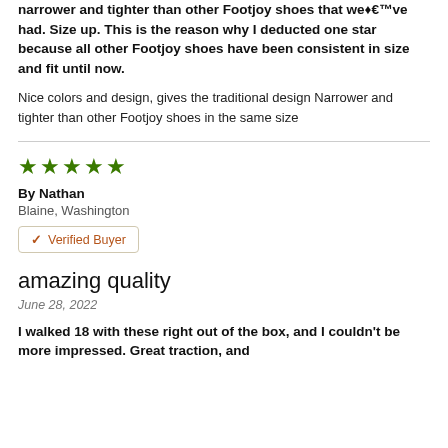narrower and tighter than other Footjoy shoes that weâ€™ve had. Size up. This is the reason why I deducted one star because all other Footjoy shoes have been consistent in size and fit until now.
Nice colors and design, gives the traditional design Narrower and tighter than other Footjoy shoes in the same size
★★★★★
By Nathan
Blaine, Washington
✓ Verified Buyer
amazing quality
June 28, 2022
I walked 18 with these right out of the box, and I couldn't be more impressed. Great traction, and